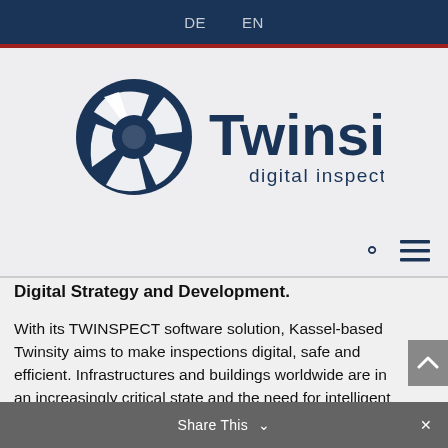DE  EN
[Figure (logo): Twinsity digital inspection logo — camera aperture icon in dark navy blue to the left of bold 'Twinsity' wordmark with 'digital inspection' tagline below]
Digital Strategy and Development.
With its TWINSPECT software solution, Kassel-based Twinsity aims to make inspections digital, safe and efficient. Infrastructures and buildings worldwide are in an increasingly critical state and the need for intelligent solutions to replace manual structural inspections is becoming more pressing. Drone technology has already overcome some of the difficulties of conventional methods, but the data from a drone inspection could not be used